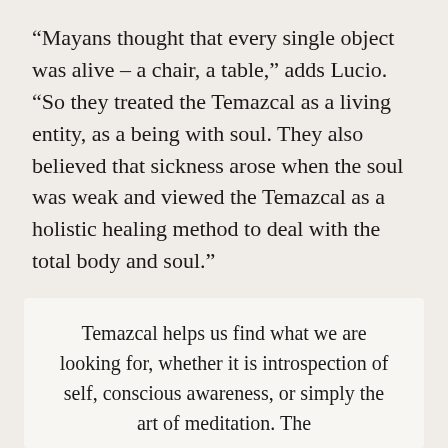“Mayans thought that every single object was alive – a chair, a table,” adds Lucio. “So they treated the Temazcal as a living entity, as a being with soul. They also believed that sickness arose when the soul was weak and viewed the Temazcal as a holistic healing method to deal with the total body and soul.”
Lucio explains that the Temazcal experience helps to seek our inner identity, to develop empathy for our brethren, and to promote open communication:
Temazcal helps us find what we are looking for, whether it is introspection of self, conscious awareness, or simply the art of meditation. The